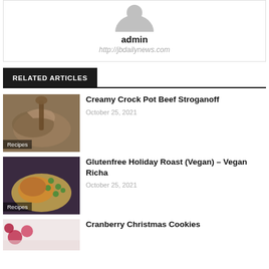[Figure (illustration): Author avatar placeholder (grey silhouette) with name 'admin' and URL 'http://jbdailynews.com']
admin
http://jbdailynews.com
RELATED ARTICLES
[Figure (photo): Food photo of creamy crock pot beef stroganoff with pasta and a wooden spoon, labeled Recipes]
Creamy Crock Pot Beef Stroganoff
October 25, 2021
[Figure (photo): Food photo of glutenfree holiday roast with green peas and sauce on a plate, labeled Recipes]
Glutenfree Holiday Roast (Vegan) – Vegan Richa
October 25, 2021
[Figure (photo): Partial food photo of cranberry christmas cookies]
Cranberry Christmas Cookies